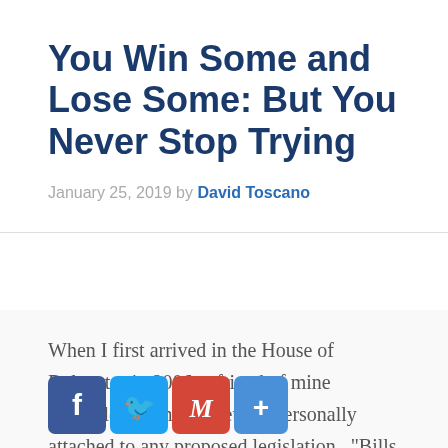You Win Some and Lose Some: But You Never Stop Trying
January 25, 2019 by David Toscano
When I first arrived in the House of Delegates in 2006, a friend of mine counseled me not to get too personally attached to any proposed legislation.  "Bills are like goldfish," he said. "You love and care for them when they are alive, but whe[n] they [g]o out and get [another fish]"